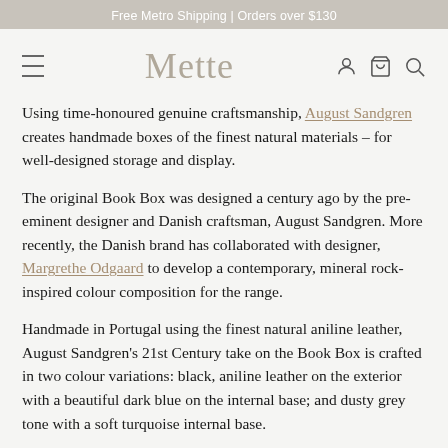Free Metro Shipping | Orders over $130
[Figure (logo): Mette logo with hamburger menu icon on left and person/bag/search icons on right]
Using time-honoured genuine craftsmanship, August Sandgren creates handmade boxes of the finest natural materials – for well-designed storage and display.
The original Book Box was designed a century ago by the pre-eminent designer and Danish craftsman, August Sandgren. More recently, the Danish brand has collaborated with designer, Margrethe Odgaard to develop a contemporary, mineral rock-inspired colour composition for the range.
Handmade in Portugal using the finest natural aniline leather, August Sandgren's 21st Century take on the Book Box is crafted in two colour variations: black, aniline leather on the exterior with a beautiful dark blue on the internal base; and dusty grey tone with a soft turquoise internal base.